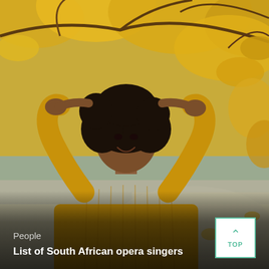[Figure (photo): A young Black woman wearing a mustard/golden yellow long-sleeve ribbed dress, smiling with her hands raised above her head. She is photographed outdoors in front of a tree with bright yellow autumn foliage and a blurred background of fallen leaves and a path.]
People
List of South African opera singers